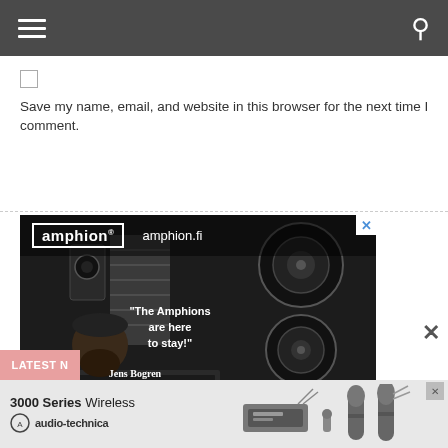Navigation bar with hamburger menu and search icon
Save my name, email, and website in this browser for the next time I comment.
Post Comment
[Figure (photo): Amphion speaker advertisement. Left: bearded man in recording studio with text 'The Amphions are here to stay!' attributed to Jens Bogren (Opeth, Sepultura, Arch Enemy). Right: close-up of Amphion speaker drivers. Logo and amphion.fi URL at top.]
[Figure (photo): Audio-Technica 3000 Series Wireless advertisement banner showing wireless microphone system and handheld microphones.]